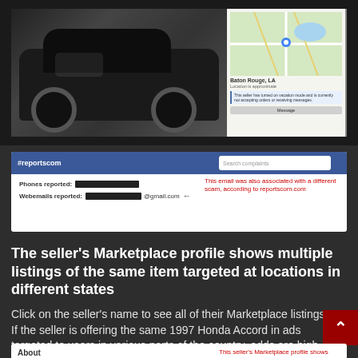[Figure (screenshot): Screenshot showing a black SUV/truck listing on Facebook Marketplace on the left, and a map panel showing Baton Rouge, LA location on the right, with a seller vacation notice.]
[Figure (screenshot): Screenshot of reportscom.com website showing a phone number and email address (redacted) reported as associated with scams. Red handwritten annotation states: 'This email was also associated with a different scam, according to reportscom.com']
The seller’s Marketplace profile shows multiple listings of the same item targeted at locations in different states
Click on the seller’s name to see all of their Marketplace listings. If the seller is offering the same 1997 Honda Accord in ads targeted to users in various parts of the country, odds are high the listings are fraudulent.
[Figure (screenshot): Partial screenshot of a Facebook Marketplace seller's About section showing 'Lives in [redacted]' and 'Joined Facebook in 2009', with red handwritten annotation: 'This seller's Marketplace profile shows the same item']